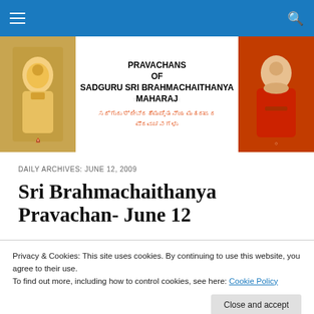Navigation bar with hamburger menu and search icon
[Figure (illustration): Website banner for Pravachans of Sadguru Sri Brahmachaithanya Maharaj with deity image on left, saint image on right, and Sanskrit/Kannada text watermark]
DAILY ARCHIVES: JUNE 12, 2009
Sri Brahmachaithanya Pravachan- June 12
Privacy & Cookies: This site uses cookies. By continuing to use this website, you agree to their use.
To find out more, including how to control cookies, see here: Cookie Policy
The feeling of disunion with Brahman or the Ultimate